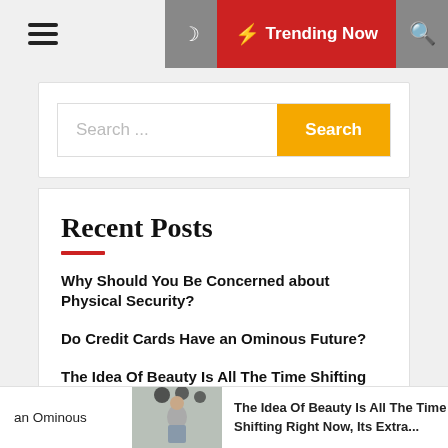≡  🌙  ⚡ Trending Now  🔍
Search ...
Recent Posts
Why Should You Be Concerned about Physical Security?
Do Credit Cards Have an Ominous Future?
The Idea Of Beauty Is All The Time Shifting Right Now, Its Extra Inclusive Than Ever.
an Ominous
The Idea Of Beauty Is All The Time Shifting Right Now, Its Extra...